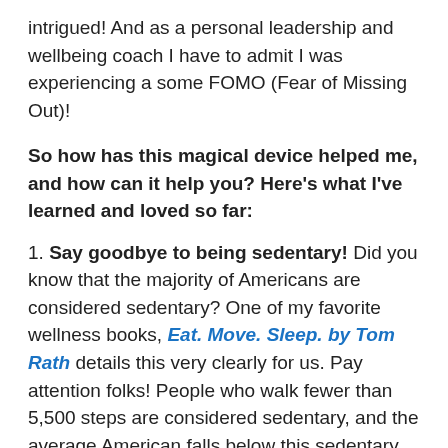intrigued! And as a personal leadership and wellbeing coach I have to admit I was experiencing a some FOMO (Fear of Missing Out)!
So how has this magical device helped me, and how can it help you? Here's what I've learned and loved so far:
1. Say goodbye to being sedentary! Did you know that the majority of Americans are considered sedentary? One of my favorite wellness books, Eat. Move. Sleep. by Tom Rath details this very clearly for us. Pay attention folks! People who walk fewer than 5,500 steps are considered sedentary, and the average American falls below this sedentary line!!! Being sedentary brings on a host of health issues which we won't get into today, but 10,000 steps are considered a good target for overall activity and